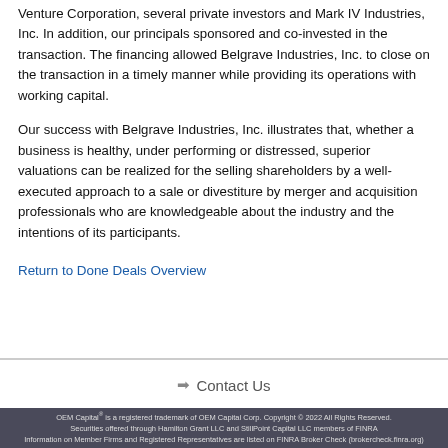Venture Corporation, several private investors and Mark IV Industries, Inc. In addition, our principals sponsored and co-invested in the transaction. The financing allowed Belgrave Industries, Inc. to close on the transaction in a timely manner while providing its operations with working capital.
Our success with Belgrave Industries, Inc. illustrates that, whether a business is healthy, under performing or distressed, superior valuations can be realized for the selling shareholders by a well-executed approach to a sale or divestiture by merger and acquisition professionals who are knowledgeable about the industry and the intentions of its participants.
Return to Done Deals Overview
Contact Us
OEM Capital® is a registered trademark of OEM Capital Corp. Copyright © 2022 All Rights Reserved. Securities offered through Hamilton Grant LLC and StillPoint Capital LLC members of FINRA Information on Member Firms and Registered Representatives are listed on FINRA Broker Check (brokercheck.finra.org)